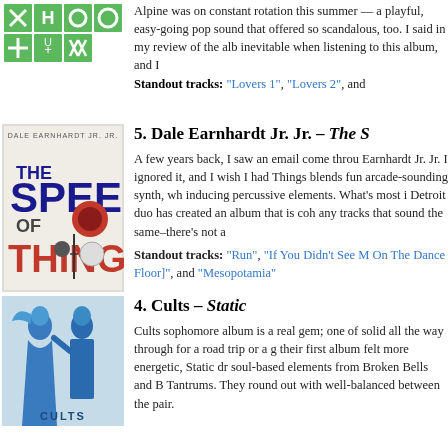[Figure (illustration): Alpine album art with green grid of symbols/icons]
Alpine was on constant rotation this summer — a playful, easy-going pop sound that offered something scandalous, too. I said in my review of the album, inevitable when listening to this album, and I... Standout tracks: "Lovers 1", "Lovers 2", and...
[Figure (illustration): Dale Earnhardt Jr. Jr. – The Speed of Things album cover with stylized text and graphic design]
5. Dale Earnhardt Jr. Jr. – The S...
A few years back, I saw an email come through for Dale Earnhardt Jr. Jr. I ignored it, and I wish I hadn't. Speed of Things blends fun arcade-sounding synth, whatever-inducing percussive elements. What's most impressive: the Detroit duo has created an album that is cohesive without any tracks that sound the same–there's not a...
Standout tracks: "Run", "If You Didn't See Me [I Was On The Dance Floor]", and "Mesopotamia"
[Figure (illustration): Cults – Static album cover with two blue glittery figures]
4. Cults – Static
Cults sophomore album is a real gem; one of those solid all the way through for a road trip or a g... their first album felt more energetic, Static draws soul-based elements from Broken Bells and Broken Tantrums. They round out with well-balanced... between the pair.